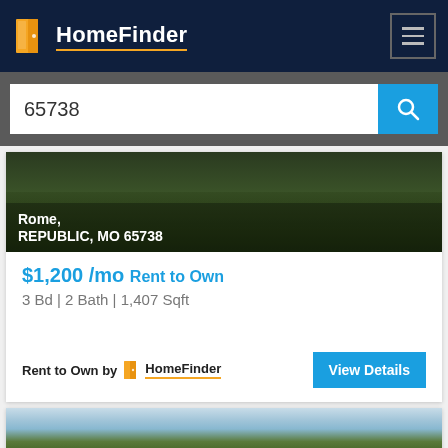HomeFinder
65738
Rome, REPUBLIC, MO 65738
$1,200 /mo Rent to Own
3 Bd | 2 Bath | 1,407 Sqft
Rent to Own by HomeFinder
View Details
[Figure (photo): Outdoor photo of trees against sky - second property listing preview]